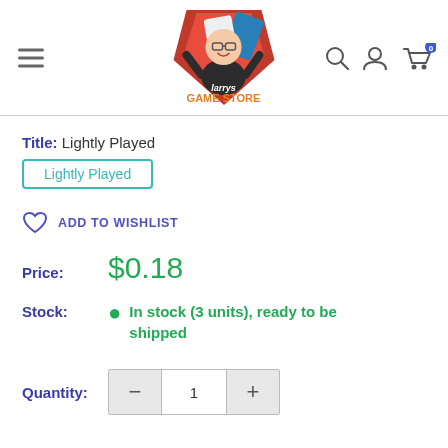[Figure (logo): Larry's Game Store logo: cartoon man with glasses holding trading cards, red and blue background, stylized text 'larrys GAME STORE']
Title: Lightly Played
Lightly Played
ADD TO WISHLIST
Price: $0.18
Stock: In stock (3 units), ready to be shipped
Quantity: 1